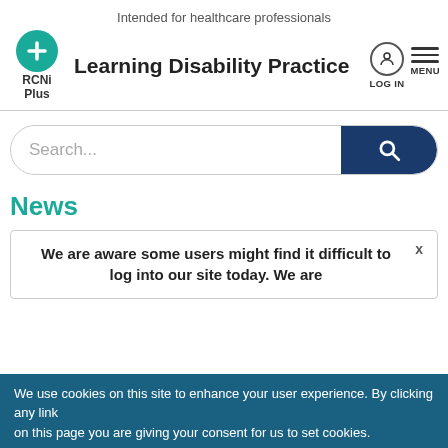Intended for healthcare professionals
[Figure (logo): RCNi Plus logo with teal circle and plus sign]
Learning Disability Practice
LOG IN   MENU
Search...
News
We are aware some users might find it difficult to log into our site today. We are
We use cookies on this site to enhance your user experience. By clicking any link on this page you are giving your consent for us to set cookies.